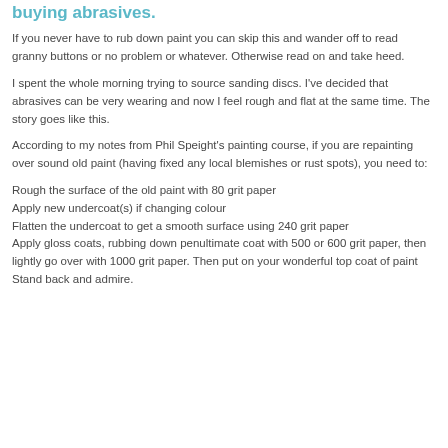buying abrasives.
If you never have to rub down paint you can skip this and wander off to read granny buttons or no problem or whatever. Otherwise read on and take heed.
I spent the whole morning trying to source sanding discs. I've decided that abrasives can be very wearing and now I feel rough and flat at the same time. The story goes like this.
According to my notes from Phil Speight's painting course, if you are repainting over sound old paint (having fixed any local blemishes or rust spots), you need to:
Rough the surface of the old paint with 80 grit paper
Apply new undercoat(s) if changing colour
Flatten the undercoat to get a smooth surface using 240 grit paper
Apply gloss coats, rubbing down penultimate coat with 500 or 600 grit paper, then lightly go over with 1000 grit paper. Then put on your wonderful top coat of paint
Stand back and admire.